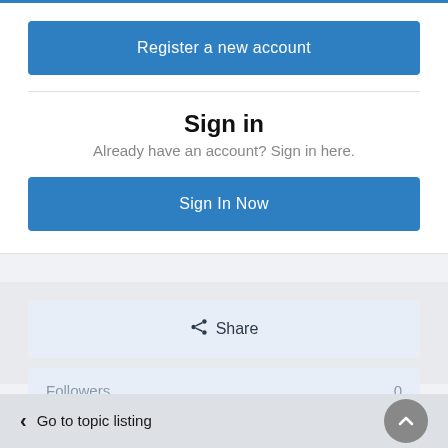Register a new account
Sign in
Already have an account? Sign in here.
Sign In Now
Share
Followers  0
Go to topic listing